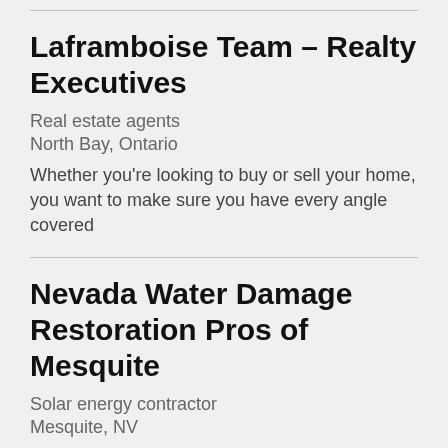Laframboise Team – Realty Executives
Real estate agents
North Bay, Ontario
Whether you're looking to buy or sell your home, you want to make sure you have every angle covered
Nevada Water Damage Restoration Pros of Mesquite
Solar energy contractor
Mesquite, NV
Nevada Water Damage Restoration Pros of